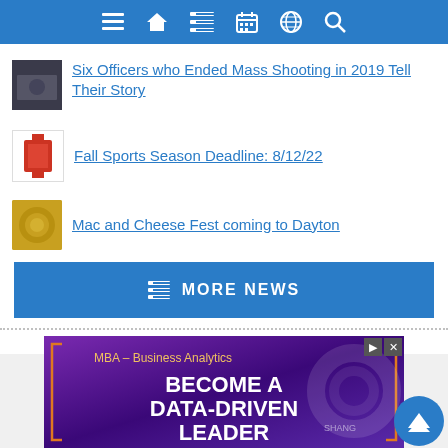Navigation bar with icons: menu, home, list, calendar, globe, search
Six Officers who Ended Mass Shooting in 2019 Tell Their Story
Fall Sports Season Deadline: 8/12/22
Mac and Cheese Fest coming to Dayton
MORE NEWS
[Figure (screenshot): Advertisement for MBA – Business Analytics program. Text reads: MBA – Business Analytics, BECOME A DATA-DRIVEN LEADER. Shows a woman with dark hair. Orange bracket decorations on sides.]